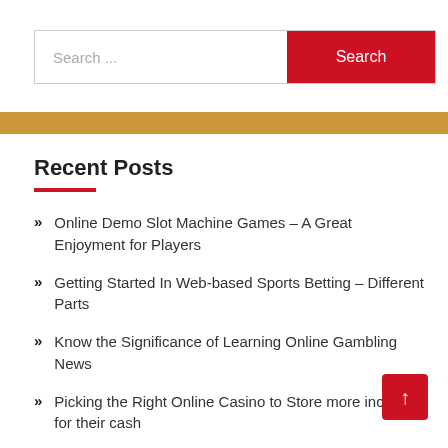[Figure (screenshot): Search bar with text input field showing 'Search ...' placeholder and a red 'Search' button]
[Figure (other): Gold/yellow horizontal banner bar]
Recent Posts
Online Demo Slot Machine Games – A Great Enjoyment for Players
Getting Started In Web-based Sports Betting – Different Parts
Know the Significance of Learning Online Gambling News
Picking the Right Online Casino to Store more incentive for their cash